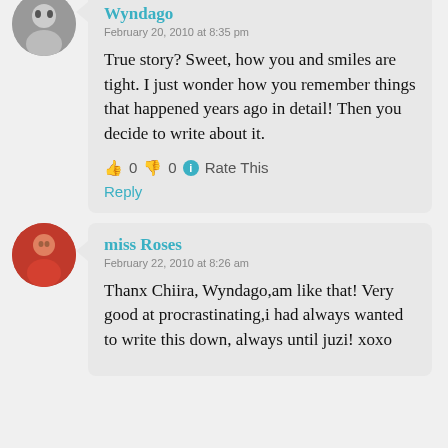Wyndago
February 20, 2010 at 8:35 pm
True story? Sweet, how you and smiles are tight. I just wonder how you remember things that happened years ago in detail! Then you decide to write about it.
👍 0 👎 0 ℹ Rate This
Reply
miss Roses
February 22, 2010 at 8:26 am
Thanx Chiira, Wyndago,am like that! Very good at procrastinating,i had always wanted to write this down, always until juzi! xoxo